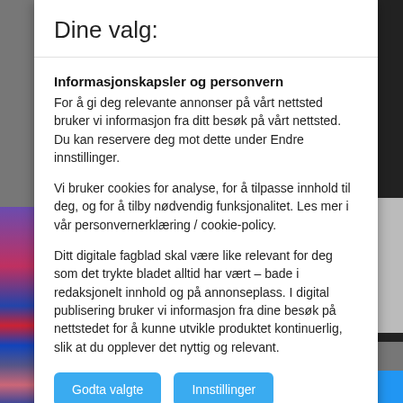Dine valg:
Informasjonskapsler og personvern
For å gi deg relevante annonser på vårt nettsted bruker vi informasjon fra ditt besøk på vårt nettsted. Du kan reservere deg mot dette under Endre innstillinger.
Vi bruker cookies for analyse, for å tilpasse innhold til deg, og for å tilby nødvendig funksjonalitet. Les mer i vår personvernerklæring / cookie-policy.
Ditt digitale fagblad skal være like relevant for deg som det trykte bladet alltid har vært – bade i redaksjonelt innhold og på annonseplass. I digital publisering bruker vi informasjon fra dine besøk på nettstedet for å kunne utvikle produktet kontinuerlig, slik at du opplever det nyttig og relevant.
Godta valgte
Innstillinger
Chalempon Poungpeth / Shutterst
Innstillinger for informasjonskapsler